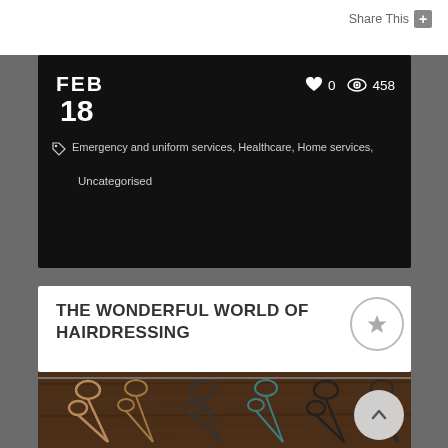Share This +
FEB 18
0  458
Emergency and uniform services, Healthcare, Home services,
Uncategorised
THE WONDERFUL WORLD OF HAIRDRESSING
[Figure (photo): Row of hairdressing scissors hanging on a wooden rack, various metallic and dark colored scissors displayed]